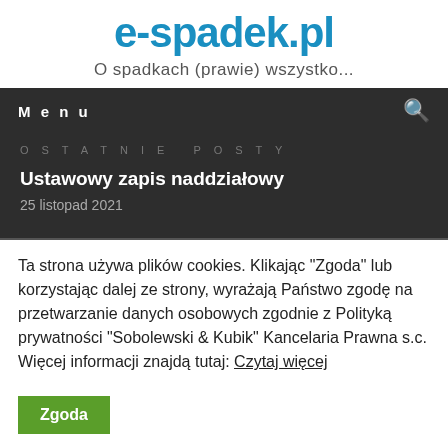e-spadek.pl
O spadkach (prawie) wszystko...
Menu
OSTATNIE POSTY
Ustawowy zapis naddziałowy
25 listopad 2021
Ta strona używa plików cookies. Klikając "Zgoda" lub korzystając dalej ze strony, wyrażają Państwo zgodę na przetwarzanie danych osobowych zgodnie z Polityką prywatności "Sobolewski & Kubik" Kancelaria Prawna s.c. Więcej informacji znajdą tutaj: Czytaj więcej
Zgoda